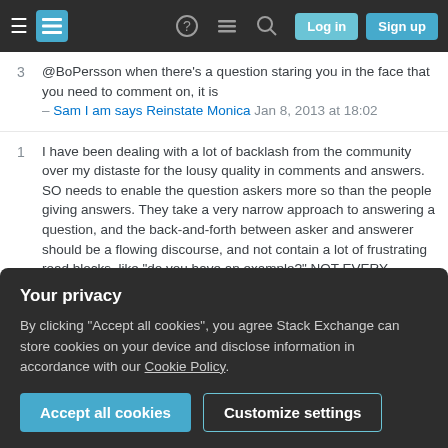Stack Exchange navigation bar with Log in and Sign up buttons
@BoPersson when there's a question staring you in the face that you need to comment on, it is – Sam I am says Reinstate Monica Jan 8, 2013 at 18:02
I have been dealing with a lot of backlash from the community over my distaste for the lousy quality in comments and answers. SO needs to enable the question askers more so than the people giving answers. They take a very narrow approach to answering a question, and the back-and-forth between asker and answerer should be a flowing discourse, and not contain a lot of frustrating road blocks, like "do you have an example?" NOT EVERY SITUATION
Your privacy
By clicking "Accept all cookies", you agree Stack Exchange can store cookies on your device and disclose information in accordance with our Cookie Policy.
Accept all cookies
Customize settings